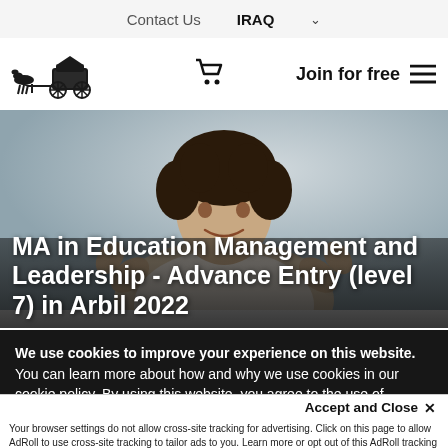Contact Us   IRAQ ▾
[Figure (logo): Horse-drawn carriage logo (dark illustration)]
Join for free  ≡
[Figure (photo): Woman with curly hair raising hands, smiling, light background]
MA in Education Management and Leadership - Advance Entry (level 7) in Arbil 2022
We use cookies to improve your experience on this website. You can learn more about how and why we use cookies in our cookie policy. By using this website, you agree to the use of cookies.
Accept and Close ✕
Your browser settings do not allow cross-site tracking for advertising. Click on this page to allow AdRoll to use cross-site tracking to tailor ads to you. Learn more or opt out of this AdRoll tracking by clicking here. This message only appears once.